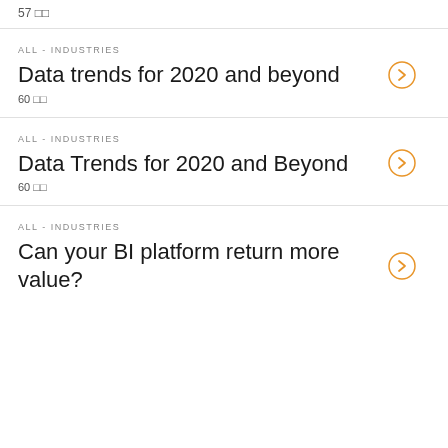57 □□
ALL - INDUSTRIES
Data trends for 2020 and beyond
60 □□
ALL - INDUSTRIES
Data Trends for 2020 and Beyond
60 □□
ALL - INDUSTRIES
Can your BI platform return more value?